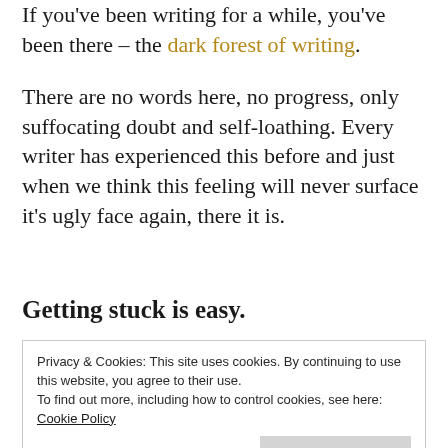If you've been writing for a while, you've been there – the dark forest of writing.
There are no words here, no progress, only suffocating doubt and self-loathing. Every writer has experienced this before and just when we think this feeling will never surface it's ugly face again, there it is.
Getting stuck is easy.
Privacy & Cookies: This site uses cookies. By continuing to use this website, you agree to their use.
To find out more, including how to control cookies, see here: Cookie Policy